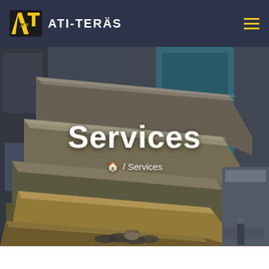ATI-TERÄS
[Figure (photo): Industrial metal bending/press brake machinery with stacked bent steel plates/profiles in shades of silver and gold, industrial workshop setting with blue machinery visible in the background.]
Services
🏠 / Services